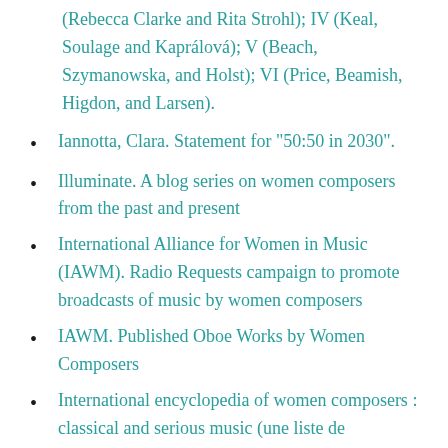(Rebecca Clarke and Rita Strohl); IV (Keal, Soulage and Kaprálová); V (Beach, Szymanowska, and Holst); VI (Price, Beamish, Higdon, and Larsen).
Iannotta, Clara. Statement for "50:50 in 2030".
Illuminate. A blog series on women composers from the past and present
International Alliance for Women in Music (IAWM). Radio Requests campaign to promote broadcasts of music by women composers
IAWM. Published Oboe Works by Women Composers
International encyclopedia of women composers : classical and serious music (une liste de compositrices incluses dans cette encyclopédie publiée par Aaron Cohen en 1987).